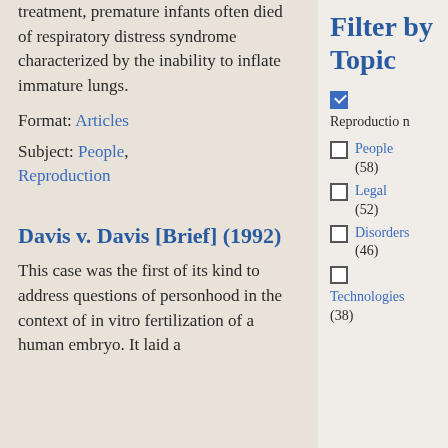treatment, premature infants often died of respiratory distress syndrome characterized by the inability to inflate immature lungs.
Format: Articles
Subject: People, Reproduction
Davis v. Davis [Brief] (1992)
This case was the first of its kind to address questions of personhood in the context of in vitro fertilization of a human embryo. It laid a
Filter by Topic
Reproduction (checked)
People (58)
Legal (52)
Disorders (46)
Technologies (38)